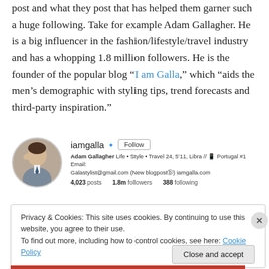post and what they post that has helped them garner such a huge following. Take for example Adam Gallagher. He is a big influencer in the fashion/lifestyle/travel industry and has a whopping 1.8 million followers. He is the founder of the popular blog “I am Galla,” which “aids the men’s demographic with styling tips, trend forecasts and third-party inspiration.”
[Figure (screenshot): Instagram profile screenshot for iamgalla showing avatar photo, username, follow button, bio text 'Adam Gallagher Life • Style • Travel 24, 5’11, Libra // Portugal #1 Email: Galastylist@gmail.com (New blogpost⊙) iamgalla.com', and stats: 4,023 posts, 1.8m followers, 388 following]
Privacy & Cookies: This site uses cookies. By continuing to use this website, you agree to their use.
To find out more, including how to control cookies, see here: Cookie Policy
Close and accept